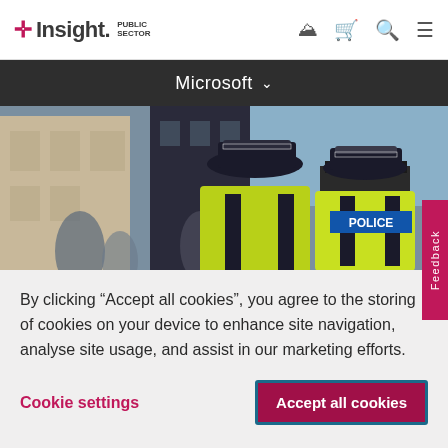[Figure (logo): Insight Public Sector logo with pink cross icon and navigation icons (person, cart, search, menu)]
[Figure (screenshot): Dark navigation bar with Microsoft dropdown label]
[Figure (photo): Two police officers in high-visibility yellow jackets viewed from behind on a street scene]
By clicking “Accept all cookies”, you agree to the storing of cookies on your device to enhance site navigation, analyse site usage, and assist in our marketing efforts.
Cookie settings
Accept all cookies